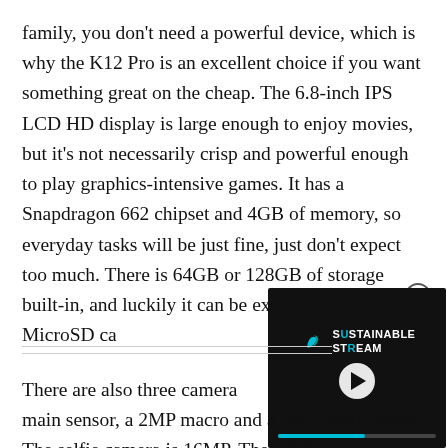family, you don't need a powerful device, which is why the K12 Pro is an excellent choice if you want something great on the cheap. The 6.8-inch IPS LCD HD display is large enough to enjoy movies, but it's not necessarily crisp and powerful enough to play graphics-intensive games. It has a Snapdragon 662 chipset and 4GB of memory, so everyday tasks will be just fine, just don't expect too much. There is 64GB or 128GB of storage built-in, and luckily it can be expanded with a MicroSD ca
[Figure (screenshot): Video player overlay showing 'Sustainable Stream' branding with a teal logo, play button, and teal progress bar on dark background. A close (X) button appears at top right.]
There are also three camera main sensor, a 2MP macro and a 2MP depth sensor. The selfie camera is 16MP. The 6,000 mAh battery will